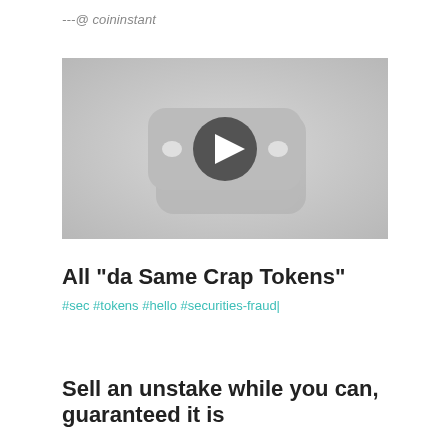---@ coininstant
[Figure (screenshot): Video thumbnail showing a YouTube-style play button icon on a grey background]
All "da Same Crap Tokens"
#sec #tokens #hello #securities-fraud|
Sell an unstake while you can, guaranteed it is